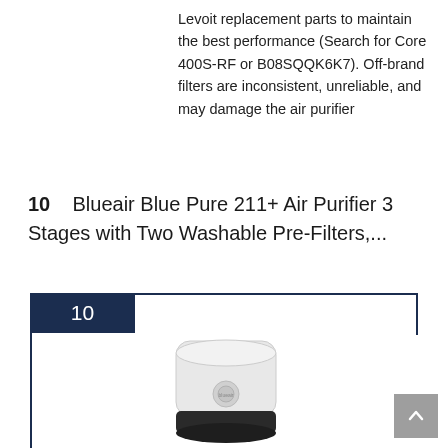Levoit replacement parts to maintain the best performance (Search for Core 400S-RF or B08SQQK6K7). Off-brand filters are inconsistent, unreliable, and may damage the air purifier
10   Blueair Blue Pure 211+ Air Purifier 3 Stages with Two Washable Pre-Filters,...
[Figure (other): Ranked box number 10 with a dark navy border and badge, containing a photo of the Blueair Blue Pure 211+ air purifier — a cylindrical white/grey unit with a black fabric base and a circular logo button]